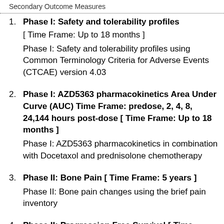Secondary Outcome Measures
Phase I: Safety and tolerability profiles [ Time Frame: Up to 18 months ]
Phase I: Safety and tolerability profiles using Common Terminology Criteria for Adverse Events (CTCAE) version 4.03
Phase I: AZD5363 pharmacokinetics Area Under Curve (AUC) Time Frame: predose, 2, 4, 8, 24,144 hours post-dose [ Time Frame: Up to 18 months ]
Phase I: AZD5363 pharmacokinetics in combination with Docetaxol and prednisolone chemotherapy
Phase II: Bone Pain [ Time Frame: 5 years ]
Phase II: Bone pain changes using the brief pain inventory
Phase II: Progression Free Survival [ Time Frame: 5 years ]